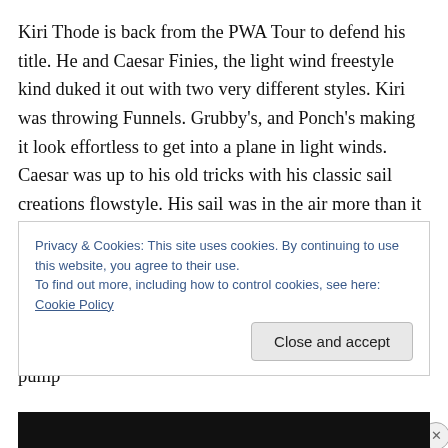Kiri Thode is back from the PWA Tour to defend his title. He and Caesar Finies, the light wind freestyle kind duked it out with two very different styles. Kiri was throwing Funnels. Grubby's, and Ponch's making it look effortless to get into a plane in light winds. Caesar was up to his old tricks with his classic sail creations flowstyle. His sail was in the air more than it was attached to his board. He is the master of this technique. Sara Quita Offringa from Aruba went up against her teammate talented Nicole van de Velden. Nicole was doing some old school gymnastic type moves with sail spin combinations. Sara was able to pump
Privacy & Cookies: This site uses cookies. By continuing to use this website, you agree to their use.
To find out more, including how to control cookies, see here: Cookie Policy